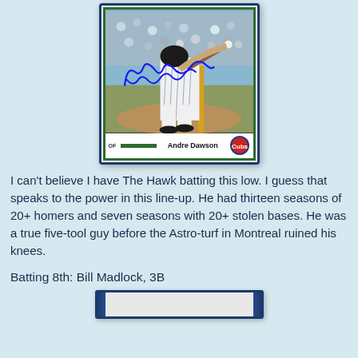[Figure (photo): Autographed baseball card of Andre Dawson (OF) in Chicago Cubs uniform, with blue ink signature. Card shows player swinging bat, with Cubs logo in bottom right corner.]
I can't believe I have The Hawk batting this low. I guess that speaks to the power in this line-up. He had thirteen seasons of 20+ homers and seven seasons with 20+ stolen bases. He was a true five-tool guy before the Astro-turf in Montreal ruined his knees.
Batting 8th: Bill Madlock, 3B
[Figure (photo): Partial view of another baseball card at the bottom of the page.]